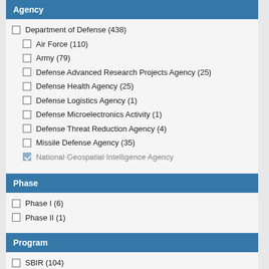Agency
Department of Defense (438)
Air Force (110)
Army (79)
Defense Advanced Research Projects Agency (25)
Defense Health Agency (25)
Defense Logistics Agency (1)
Defense Microelectronics Activity (1)
Defense Threat Reduction Agency (4)
Missile Defense Agency (35)
National Geospatial Intelligence Agency
Phase
Phase I (6)
Phase II (1)
Program
SBIR (104)